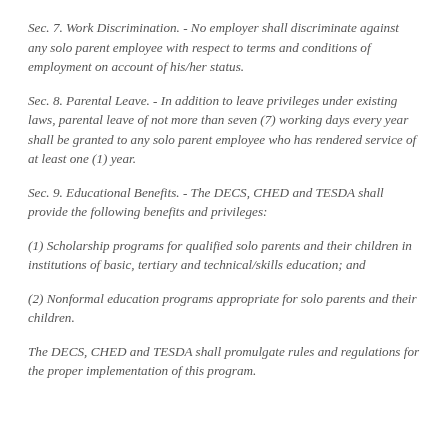Sec. 7. Work Discrimination. - No employer shall discriminate against any solo parent employee with respect to terms and conditions of employment on account of his/her status.
Sec. 8. Parental Leave. - In addition to leave privileges under existing laws, parental leave of not more than seven (7) working days every year shall be granted to any solo parent employee who has rendered service of at least one (1) year.
Sec. 9. Educational Benefits. - The DECS, CHED and TESDA shall provide the following benefits and privileges:
(1) Scholarship programs for qualified solo parents and their children in institutions of basic, tertiary and technical/skills education; and
(2) Nonformal education programs appropriate for solo parents and their children.
The DECS, CHED and TESDA shall promulgate rules and regulations for the proper implementation of this program.